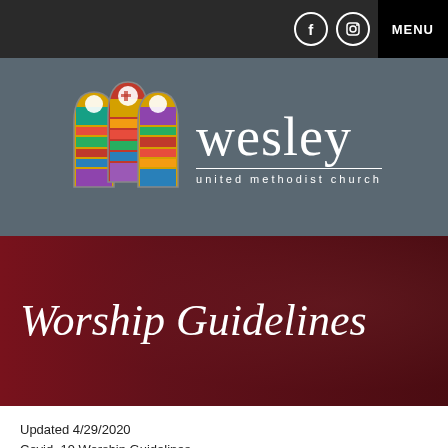MENU
[Figure (logo): Wesley United Methodist Church logo with stained glass windows and church name]
Worship Guidelines
Updated 4/29/2020
Covid-19 Worship Guidelines
Summary for the Sundays May 3-17:
We encourage everyone in the high-risk use to stay home and make use of online streams for the worship service. We encourage everyone to